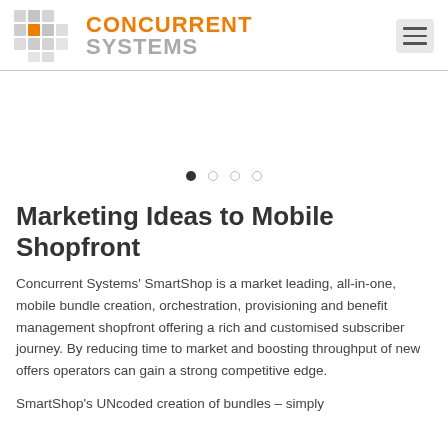[Figure (logo): Concurrent Systems logo with grid icon and orange/gray text]
[Figure (other): Carousel navigation dots, 4 dots with first one active]
Marketing Ideas to Mobile Shopfront
Concurrent Systems' SmartShop is a market leading, all-in-one, mobile bundle creation, orchestration, provisioning and benefit management shopfront offering a rich and customised subscriber journey. By reducing time to market and boosting throughput of new offers operators can gain a strong competitive edge.
SmartShop's UNcoded creation of bundles – simply